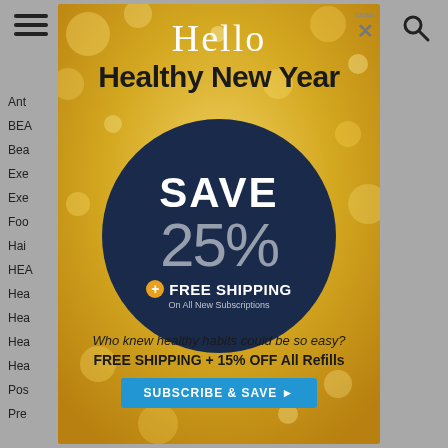[Figure (screenshot): Website screenshot showing a popup advertisement overlay on a health/wellness website. The popup has a golden bokeh background with 'Hello Healthy New Year' heading, a dark navy circle with 'SAVE 25%' and '+ FREE SHIPPING On All New Subscriptions', followed by bottom text 'Who knew healthy habits could be so easy? FREE SHIPPING + 15% OFF All Refills' and a blue 'SUBSCRIBE & SAVE' button. The left side shows partial website navigation links. A close (X) button appears in the top right of the popup.]
Ant
BEA
Bea
Exe
Exe
Foo
Hai
HEA
Hea
Hea
Hea
Hea
Pos
Pre